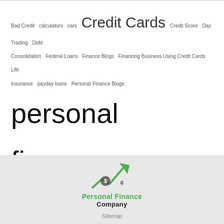Bad Credit calculators cars Credit Cards Credit Score Day Trading Debt Consolidation Federal Loans Finance Blogs Financing Business Using Credit Cards Life Insurance payday loans Personal Finance Blogs personal finance company Personal Finance Company Indiana Pre-Market Real Estate Retirement Plans save money on your current expenses. saving tips Security and Exchange Commission spreadsheet Stock Market Stock Market Technical Analysis Student Loans
[Figure (logo): Personal Finance Company logo with green upward arrow chart and dollar sign icon, text reads Personal Finance Company in green and black]
Sitemap